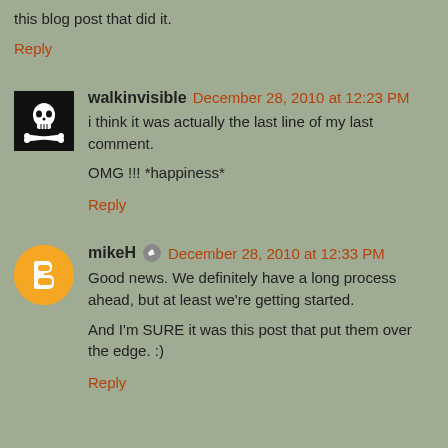this blog post that did it.
Reply
walkinvisible  December 28, 2010 at 12:23 PM
i think it was actually the last line of my last comment.

OMG !!! *happiness*
Reply
mikeH  December 28, 2010 at 12:33 PM
Good news. We definitely have a long process ahead, but at least we're getting started.

And I'm SURE it was this post that put them over the edge. :)
Reply